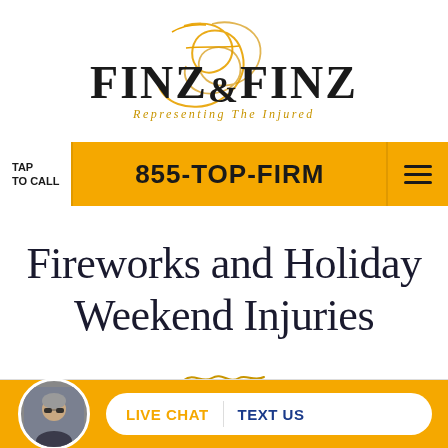[Figure (logo): Finz & Finz law firm logo with cursive gold flourish and serif text. Tagline: Representing The Injured]
TAP TO CALL | 855-TOP-FIRM | Menu
Fireworks and Holiday Weekend Injuries
[Figure (illustration): Decorative gold cursive squiggle/divider line]
[Figure (photo): Circular avatar photo of a man wearing sunglasses, gray hair, professional appearance]
LIVE CHAT | TEXT US